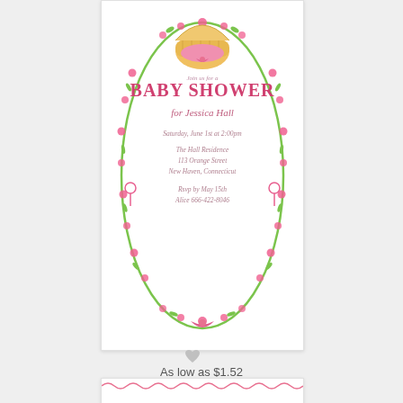[Figure (illustration): Baby shower invitation card with pink floral wreath border, bassinet illustration at top, pink bow at bottom. Text reads: Join us for a BABY SHOWER for Jessica Hall, Saturday, June 1st at 2:00pm, The Hall Residence, 113 Orange Street, New Haven, Connecticut, Rsvp by May 15th, Alice 666-422-8046]
[Figure (illustration): Small grey heart icon as a favorite/like button]
As low as $1.52
Wildflower Bassinet (Pink)
[Figure (illustration): Bottom portion of a second invitation card with pink scalloped border visible]